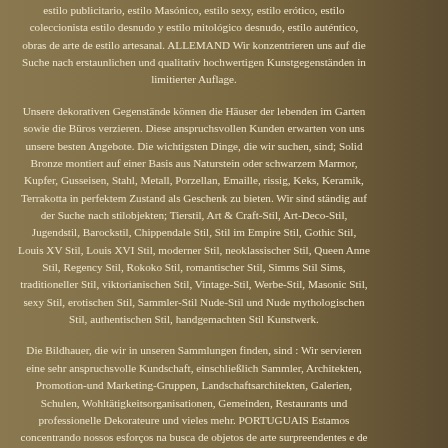estilo publicitario, estilo Masónico, estilo sexy, estilo erótico, estilo coleccionista estilo desnudo y estilo mitológico desnudo, estilo auténtico, obras de arte de estilo artesanal. ALLEMAND Wir konzentrieren uns auf die Suche nach erstaunlichen und qualitativ hochwertigen Kunstgegenständen in limitierter Auflage.
Unsere dekorativen Gegenstände können die Häuser der lebenden im Garten sowie die Büros verzieren. Diese anspruchsvollen Kunden erwarten von uns unsere besten Angebote. Die wichtigsten Dinge, die wir suchen, sind; Solid Bronze montiert auf einer Basis aus Naturstein oder schwarzem Marmor, Kupfer, Gusseisen, Stahl, Metall, Porzellan, Emaille, rissig, Keks, Keramik, Terrakotta in perfektem Zustand als Geschenk zu bieten. Wir sind ständig auf der Suche nach stilobjekten; Tierstil, Art & Craft-Stil, Art-Deco-Stil, Jugendstil, Barockstil, Chippendale Stil, Stil im Empire Stil, Gothic Stil, Louis XV Stil, Louis XVI Stil, moderner Stil, neoklassischer Stil, Queen Anne Stil, Regency Stil, Rokoko Stil, romantischer Stil, Simms Stil Sims, traditioneller Stil, viktorianischen Stil, Vintage-Stil, Werbe-Stil, Masonic Stil, sexy Stil, erotischen Stil, Sammler-Stil Nude-Stil und Nude mythologischen Stil, authentischen Stil, handgemachten Stil Kunstwerk.
Die Bildhauer, die wir in unseren Sammlungen finden, sind : Wir servieren eine sehr anspruchsvolle Kundschaft, einschließlich Sammler, Architekten, Promotion-und Marketing-Gruppen, Landschaftsarchitekten, Galerien, Schulen, Wohltätigkeitsorganisationen, Gemeinden, Restaurants und professionelle Dekorateure und vieles mehr. PORTUGUAIS Estamos concentrando nossos esforços na busca de objetos de arte surpreendentes e de alta qualidade em edição limitada. Nossos objetos decorativos podem decorar as casas dos vivos no jardim, bem como os escritórios. Estes clientes exigentes esperam nossas melhores ofertas de nós.